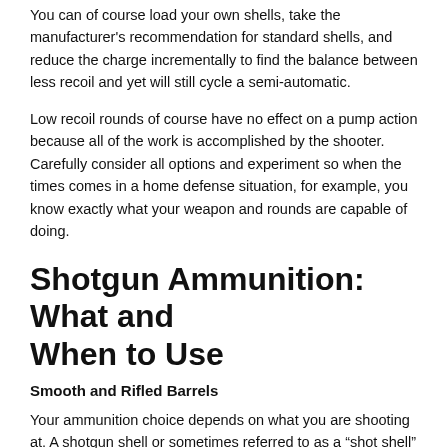You can of course load your own shells, take the manufacturer's recommendation for standard shells, and reduce the charge incrementally to find the balance between less recoil and yet will still cycle a semi-automatic.
Low recoil rounds of course have no effect on a pump action because all of the work is accomplished by the shooter. Carefully consider all options and experiment so when the times comes in a home defense situation, for example, you know exactly what your weapon and rounds are capable of doing.
Shotgun Ammunition: What and When to Use
Smooth and Rifled Barrels
Your ammunition choice depends on what you are shooting at. A shotgun shell or sometimes referred to as a “shot shell” is loaded with either shot or a slug. Most shotgun loads are designed to be fired from a smooth bore, in other words the barrel is not rifled. There are however, dedicated shotguns with rifled barrels that are more accurate, but making it unsuitable for firing shot. Shot would simply wear the rifling away and this of course will defeat